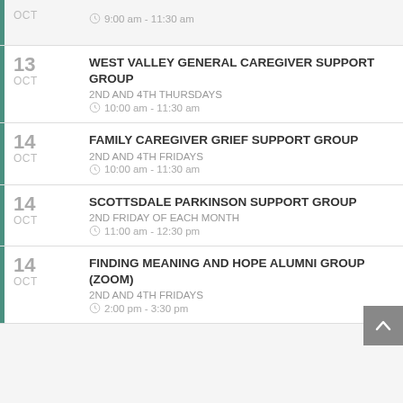OCT | 9:00 am - 11:30 am
13 OCT | WEST VALLEY GENERAL CAREGIVER SUPPORT GROUP | 2ND AND 4TH THURSDAYS | 10:00 am - 11:30 am
14 OCT | FAMILY CAREGIVER GRIEF SUPPORT GROUP | 2ND AND 4TH FRIDAYS | 10:00 am - 11:30 am
14 OCT | SCOTTSDALE PARKINSON SUPPORT GROUP | 2ND FRIDAY OF EACH MONTH | 11:00 am - 12:30 pm
14 OCT | FINDING MEANING AND HOPE ALUMNI GROUP (ZOOM) | 2ND AND 4TH FRIDAYS | 2:00 pm - 3:30 pm